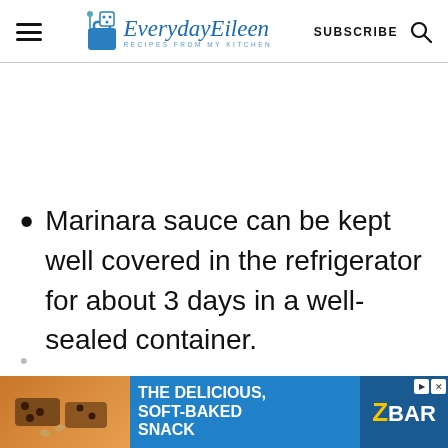EverydayEileen - Recipes from my kitchen
Marinara sauce can be kept well covered in the refrigerator for about 3 days in a well-sealed container.
[Figure (other): Advertisement banner: 'The Delicious, Soft-Baked Snack' with ZBAR branding on blue background]